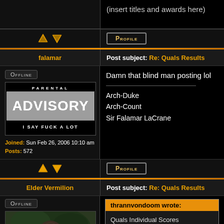(insert titles and awards here)
[Figure (other): Navigation arrows (up/down) and Profile button]
falamar
Post subject: Re: Quals Results
[Figure (other): Offline button, Parental Advisory avatar image, user join date and post count]
Damn that blind man posting lol
Arch-Duke
Arch-Count
Sir Falamar LaCrane
[Figure (other): Navigation arrows (up/down) and Profile button]
Elder Vermilion
Post subject: Re: Quals Results
[Figure (photo): User avatar photo showing person in cowboy hat]
thrannvondoom wrote:
Quals Individual Scores
Day 1.
Jorn: Great Sword 3.2, Short Sword 3.2